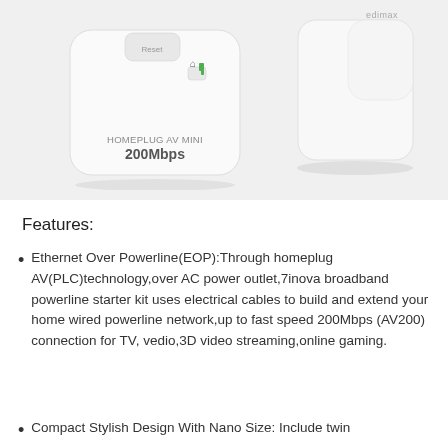[Figure (photo): Two white powerline network adapters. Left device shows 'HOMEPLUG AV MINI 200Mbps' text with indicator lights. Right device is a compact nano-sized white adapter.]
Features:
Ethernet Over Powerline(EOP):Through homeplug AV(PLC)technology,over AC power outlet,7inova broadband powerline starter kit uses electrical cables to build and extend your home wired powerline network,up to fast speed 200Mbps (AV200) connection for TV, vedio,3D video streaming,online gaming.
Compact Stylish Design With Nano Size: Include twin adapters in the starter kit...